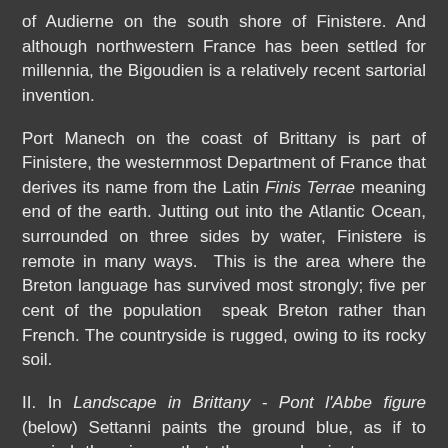of Audierne on the south shore of Finistere. And although northwestern France has been settled for millennia, the Bigoudien is a relatively recent sartorial invention.
Port Manech on the coast of Brittany is part of Finistere, the westernmost Department of France that derives its name from the Latin Finis Terrae meaning end of the earth. Jutting out into the Atlantic Ocean, surrounded on three sides by water, Finistere is remote in many ways. This is the area where the Breton language has survived most strongly; five per cent of the population speak Breton rather than French. The countryside is rugged, owing to its rocky soil.
II. In Landscape in Brittany - Pont l'Abbe figure (below) Settanni paints the ground blue, as if to remind the viewer that the sea dominates every corner of Breton life. This makes it appear as though the sea has jumped the stone wall to surround the houses. The figure of the woman reminds us that while the men were away on fishing expeditions, the women waited at home and watched the sea. Thickly applied strokes and daubs of paint lend richness to a scene that some dismiss as impoverished and